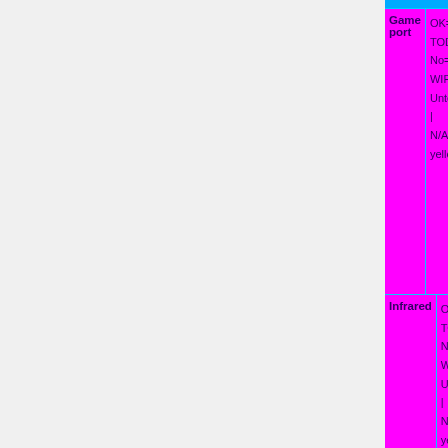| Feature | Status |
| --- | --- |
| Game port | OK=lime | TODO=red | No=red | WIP=orange | Untested=yellow | N/A=lightgray yellow }}" | N/A |
| Infrared | OK=lime | TODO=red | No=red | WIP=orange | Untested=yellow | N/A=lightgray yellow }}" | N/A |
| PC speaker | OK=lime | TODO=red | No=red | WIP=orange | Untested=yellow | N/A=lightgray yellow }}" | OK |
| DiskOnChip | OK=lime | TODO=red |